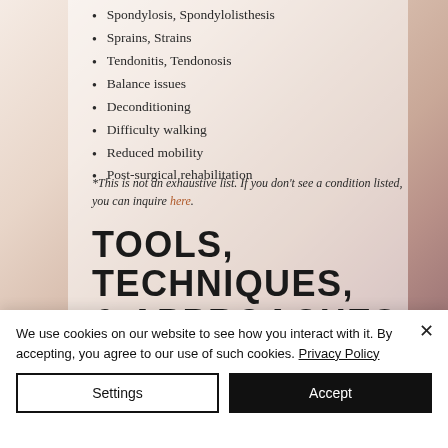Spondylosis, Spondylolisthesis
Sprains, Strains
Tendonitis, Tendonosis
Balance issues
Deconditioning
Difficulty walking
Reduced mobility
Post-surgical rehabilitation
*This is not an exhaustive list. If you don't see a condition listed, you can inquire here.
TOOLS, TECHNIQUES, & APPROACHES
We use cookies on our website to see how you interact with it. By accepting, you agree to our use of such cookies. Privacy Policy
Settings
Accept